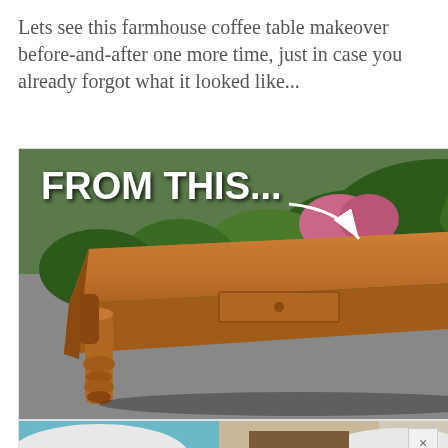Lets see this farmhouse coffee table makeover before-and-after one more time, just in case you already forgot what it looked like...
[Figure (photo): A wooden farmhouse-style coffee table with turned legs and a small drawer, photographed outdoors on a driveway with green bushes in the background. White text overlay reads 'FROM THIS...' with a curved arrow pointing to the table.]
[Figure (photo): Partial bottom image showing what appears to be a makeover result with teal/blue colors, white cushions, and brown wooden elements — the 'after' portion of the before-and-after comparison.]